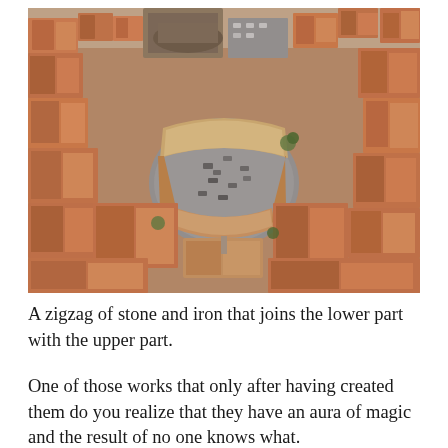[Figure (photo): Aerial/bird's-eye view photograph of a dense Italian hilltop town with terracotta-roofed buildings clustered around a central piazza. The piazza is roughly elliptical, with cars parked inside. The buildings are stone and brick in warm ochre, tan, and terracotta tones.]
A zigzag of stone and iron that joins the lower part with the upper part.
One of those works that only after having created them do you realize that they have an aura of magic and the result of no one knows what.